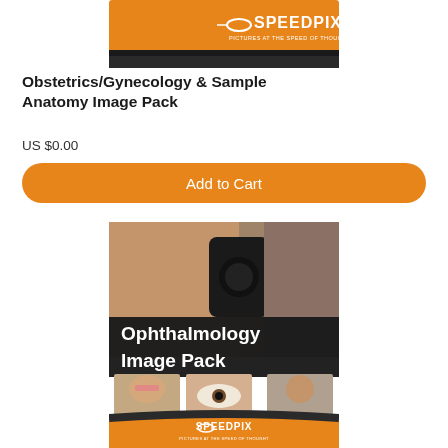[Figure (illustration): Speedpix branded product image for Obstetrics/Gynecology & Sample Anatomy Image Pack with orange header and Speedpix logo]
Obstetrics/Gynecology & Sample Anatomy Image Pack
US $0.00
Add to Cart
[Figure (illustration): Ophthalmology Image Pack product cover showing a doctor examining a patient's eye with an ophthalmoscope, three thumbnail images at the bottom, orange lower band with Speedpix logo]